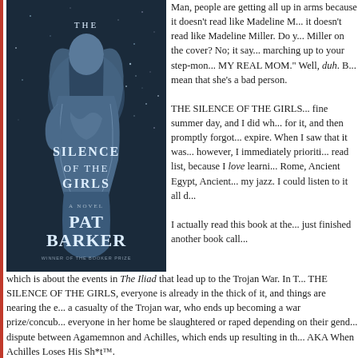[Figure (photo): Book cover of 'The Silence of the Girls' by Pat Barker - a novel, showing a blue-toned classical statue draped in cloth against a starry background. Text reads: THE SILENCE OF THE GIRLS, A NOVEL, PAT BARKER, WINNER OF THE BOOKER PRIZE]
Man, people are getting all up in arms because it doesn't read like Madeline Miller. It doesn't read like Madeline Miller. Do you see Madeline Miller on the cover? No; it says Pat Barker. Is it marching up to your step-mom and going "YOU'RE NOT MY REAL MOM." Well, duh. But that doesn't mean that she's a bad person.
THE SILENCE OF THE GIRLS came out on a fine summer day, and I did what any person would for it, and then promptly forgot to read it until my hold expire. When I saw that it was available on Libby, however, I immediately prioritized it on my to-read list, because I love learning about Ancient Rome, Ancient Egypt, Ancient Greece is totally my jazz. I could listen to it all day.
I actually read this book at the same time as I just finished another book called which is about the events in The Iliad that lead up to the Trojan War. In THE SILENCE OF THE GIRLS, everyone is already in the thick of it, and things are nearing the end. Briseis is a casualty of the Trojan war, who ends up becoming a war prize/concubine after watching everyone in her home be slaughtered or raped depending on their gender. She gets caught in a dispute between Agamemnon and Achilles, which ends up resulting in the Rage of Achilles, AKA When Achilles Loses His Sh*t™.